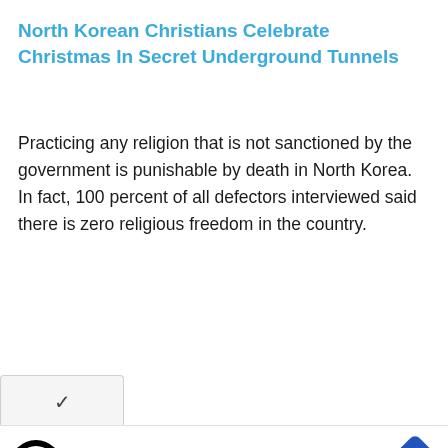North Korean Christians Celebrate Christmas In Secret Underground Tunnels
Practicing any religion that is not sanctioned by the government is punishable by death in North Korea. In fact, 100 percent of all defectors interviewed said there is zero religious freedom in the country.
[Figure (other): Advertisement banner for Firestone Tire Offer from Virginia Tire & Auto of Ashburn, with logo and navigation arrow icon]